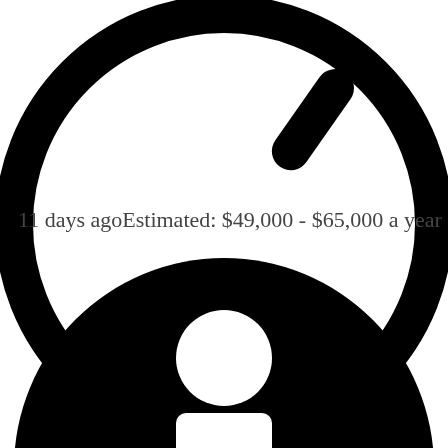[Figure (illustration): Large clock icon (circle with a clock hand pointing to upper-right), cropped, showing top portion only. Black on white.]
11 days agoEstimated: $49,000 - $65,000 a year
[Figure (illustration): Large person/user icon (silhouette of a person with circular head and body), cropped showing bottom half. Black on white.]